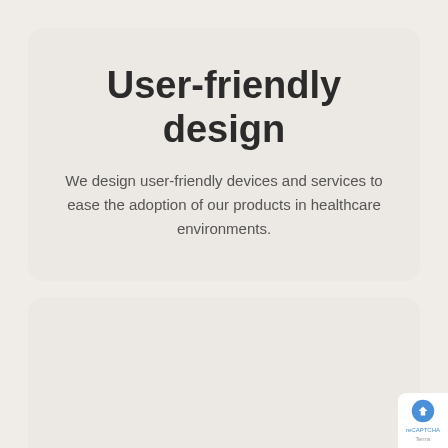User-friendly design
We design user-friendly devices and services to ease the adoption of our products in healthcare environments.
Prolonged